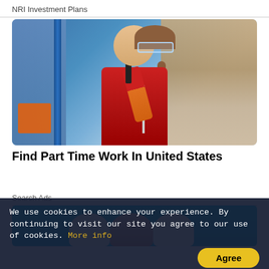NRI Investment Plans
[Figure (photo): A smiling woman wearing glasses, a red jacket, and orange gloves, holding a walkie-talkie, standing in a warehouse with shelves of boxes in the background.]
Find Part Time Work In United States
Search Ads
[Figure (illustration): Dental advertisement showing three tooth illustrations on a light blue background — two white teeth flanking a middle tooth with exposed reddish gum/root area.]
We use cookies to enhance your experience. By continuing to visit our site you agree to our use of cookies. More info